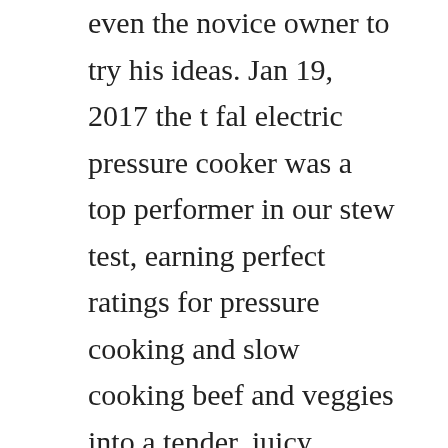even the novice owner to try his ideas. Jan 19, 2017 the t fal electric pressure cooker was a top performer in our stew test, earning perfect ratings for pressure cooking and slow cooking beef and veggies into a tender, juicy onepot meal. Wellbuilt and with plenty of capacity, the tefal allinone electric pressure cooker is a.
T fal electric pressure cooker use manual use guide pdf download or read online. This is one of the best pressure cookers on the market from t fal which offers excellent pressure cooking. How to clean electric skillet top t fal pressure cookers 1. Tfal pressure cooker